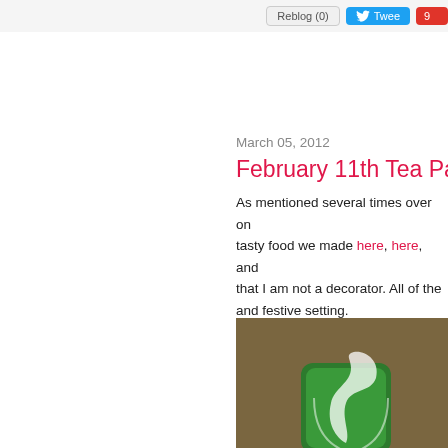Reblog (0) | Tweet | [share count]
March 05, 2012
February 11th Tea Party
As mentioned several times over on this blog, we talked about the tasty food we made here, here, and here. I think I've made it clear that I am not a decorator. All of the ... and festive setting.
[Figure (photo): A close-up photograph of a tea box or package with a green and white tea leaf/cup logo on a dark brown/olive background.]